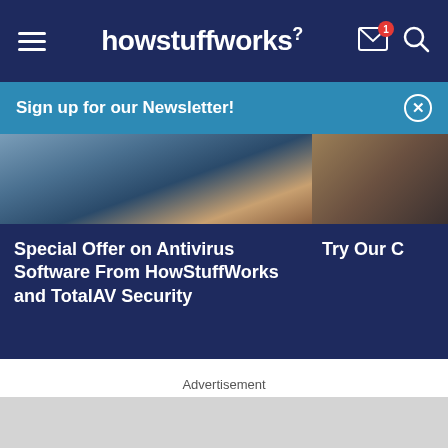howstuffworks
Sign up for our Newsletter!
[Figure (screenshot): Partial top portion of a website article card image showing a person at a computer in dark tones]
Special Offer on Antivirus Software From HowStuffWorks and TotalAV Security
Try Our C
Advertisement
[Figure (other): Grey advertisement placeholder block]
Get the HowStuffWorks Newsletter!
Sign Up